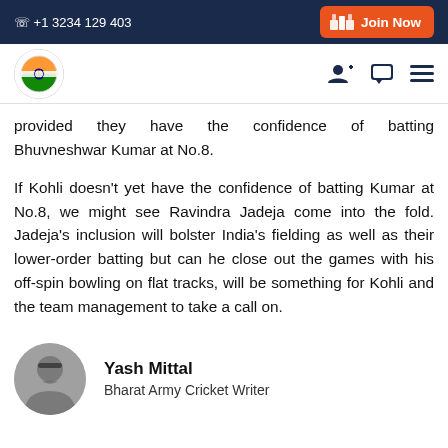+1 3234 129 403 | Join Now
[Figure (logo): Bharat Army logo with Indian flag colors circular emblem]
provided they have the confidence of batting Bhuvneshwar Kumar at No.8.
If Kohli doesn't yet have the confidence of batting Kumar at No.8, we might see Ravindra Jadeja come into the fold. Jadeja's inclusion will bolster India's fielding as well as their lower-order batting but can he close out the games with his off-spin bowling on flat tracks, will be something for Kohli and the team management to take a call on.
Yash Mittal — Bharat Army Cricket Writer